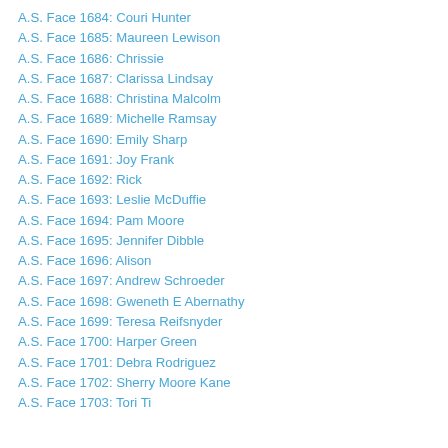A.S. Face 1684: Couri Hunter
A.S. Face 1685: Maureen Lewison
A.S. Face 1686: Chrissie
A.S. Face 1687: Clarissa Lindsay
A.S. Face 1688: Christina Malcolm
A.S. Face 1689: Michelle Ramsay
A.S. Face 1690: Emily Sharp
A.S. Face 1691: Joy Frank
A.S. Face 1692: Rick
A.S. Face 1693: Leslie McDuffie
A.S. Face 1694: Pam Moore
A.S. Face 1695: Jennifer Dibble
A.S. Face 1696: Alison
A.S. Face 1697: Andrew Schroeder
A.S. Face 1698: Gweneth E Abernathy
A.S. Face 1699: Teresa Reifsnyder
A.S. Face 1700: Harper Green
A.S. Face 1701: Debra Rodriguez
A.S. Face 1702: Sherry Moore Kane
A.S. Face 1703: Tori Ti…